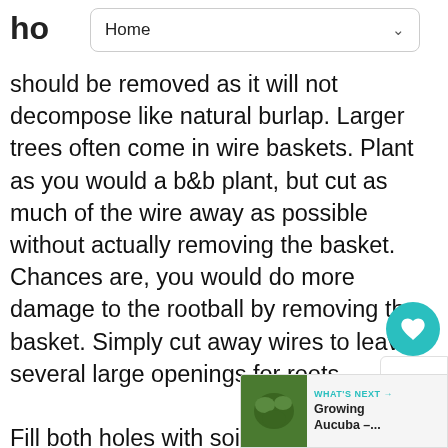ho  Home
should be removed as it will not decompose like natural burlap. Larger trees often come in wire baskets. Plant as you would a b&b plant, but cut as much of the wire away as possible without actually removing the basket. Chances are, you would do more damage to the rootball by removing the basket. Simply cut away wires to leave several large openings for roots.

Fill both holes with soil the same way. Never amend with less than half original soil. Recent studies show that if your soil is loose enough, you are better off adding little or no soil amendments.